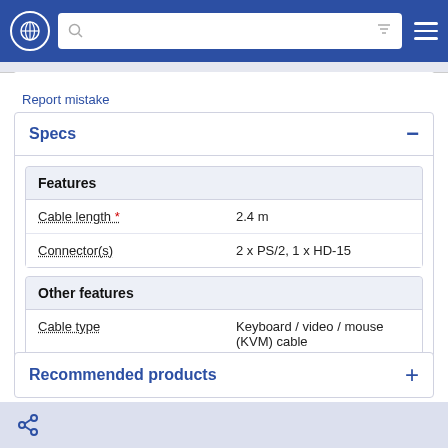Navigation bar with globe, search, filter, and menu
Report mistake
Specs
| Features |  |
| --- | --- |
| Cable length * | 2.4 m |
| Connector(s) | 2 x PS/2, 1 x HD-15 |
| Other features |  |
| --- | --- |
| Cable type | Keyboard / video / mouse (KVM) cable |
Recommended products
Share